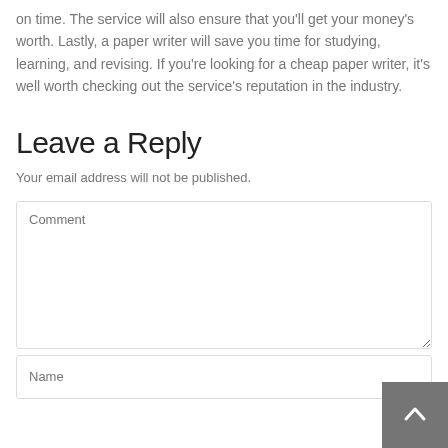on time. The service will also ensure that you'll get your money's worth. Lastly, a paper writer will save you time for studying, learning, and revising. If you're looking for a cheap paper writer, it's well worth checking out the service's reputation in the industry.
Leave a Reply
Your email address will not be published.
Comment
Name